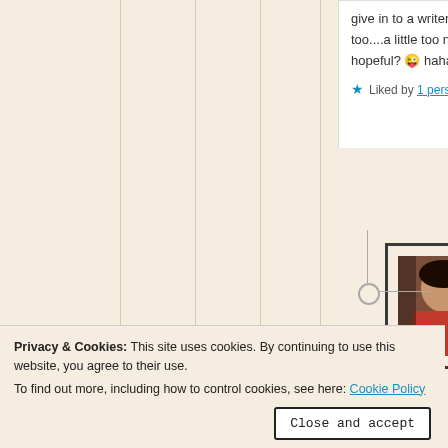give in to a writers dreams too....a little too naive and hopeful? 😜 hahaha
★ Liked by 1 person
Reply
Tara Sparling
April 19, 2017 at 11:48 pm
Privacy & Cookies: This site uses cookies. By continuing to use this website, you agree to their use.
To find out more, including how to control cookies, see here: Cookie Policy
Close and accept